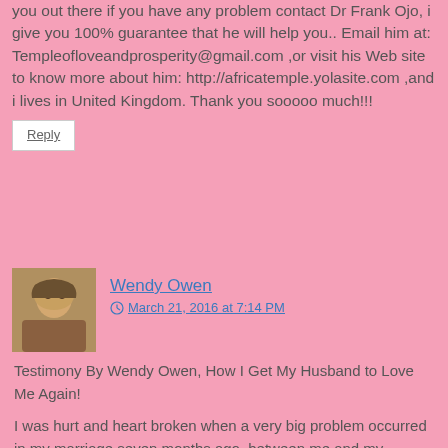you out there if you have any problem contact Dr Frank Ojo, i give you 100% guarantee that he will help you.. Email him at: Templeofloveandprosperity@gmail.com ,or visit his Web site to know more about him: http://africatemple.yolasite.com ,and i lives in United Kingdom. Thank you sooooo much!!!
Reply
Wendy Owen
March 21, 2016 at 7:14 PM
Testimony By Wendy Owen, How I Get My Husband to Love Me Again!
I was hurt and heart broken when a very big problem occurred in my marriage seven months ago, between me and my husband . so terrible that he took the case to court for a divorce. he said that he never wanted to stay with me again,and that he didn't love me anymore.So he packed out of the house and made me and my children passed